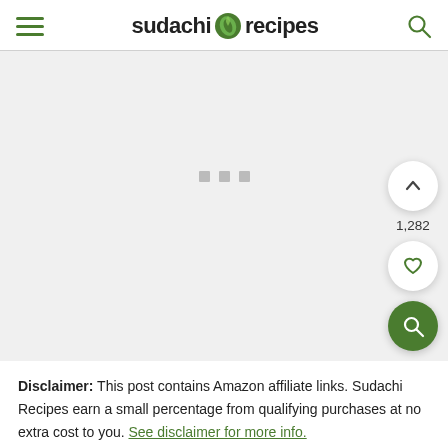sudachi recipes
[Figure (screenshot): Loading placeholder area with three small grey squares centered on a light grey background]
1,282
Disclaimer: This post contains Amazon affiliate links. Sudachi Recipes earn a small percentage from qualifying purchases at no extra cost to you. See disclaimer for more info.